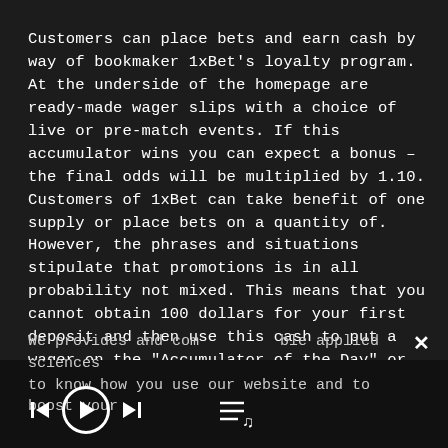Customers can place bets and earn cash by way of bookmaker 1xBet's loyalty program. At the underside of the homepage are ready-made wager slips with a choice of live or pre-match events. If this accumulator wins you can expect a bonus – the final odds will be multiplied by 1.10. Customers of 1xBet can take benefit of one supply or place bets on a quantity of. However, the phrases and situations stipulate that promotions is in all probability not mixed. This means that you cannot obtain 100 dollars for your first deposit and then use this cash to put a wager on the "Accumulator of the Day" or "Bet Race".
We provides and compatible applied sciences to know how you use our website and to boost your